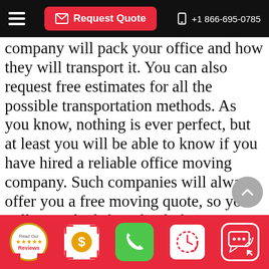Request Quote  +1 866-695-0785
company will pack your office and how they will transport it. You can also request free estimates for all the possible transportation methods. As you know, nothing is ever perfect, but at least you will be able to know if you have hired a reliable office moving company. Such companies will always offer you a free moving quote, so you will never be left in the dark on any aspect of the move.
Affordable Nearby Commercial Movers 84108
If you are still unsure of what kind of relocating
Read Our Reviews | $ | Phone | Clock | Chat